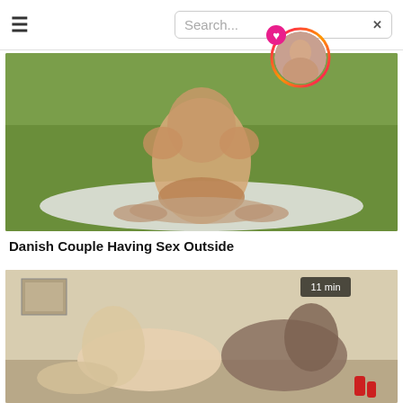≡  Search... ×
[Figure (photo): Video thumbnail showing outdoor scene]
Danish Couple Having Sex Outside
[Figure (photo): Video thumbnail showing indoor scene, 11 min duration]